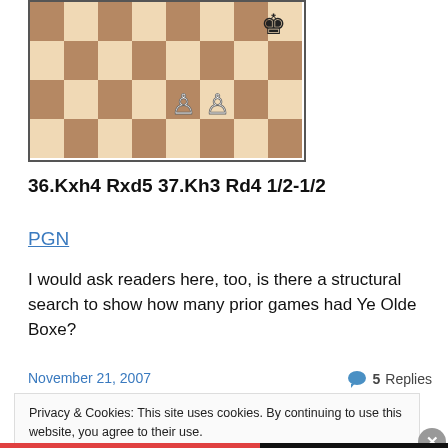[Figure (illustration): Partial chess board showing the endgame position with two white pawns visible on the board, and a black king in top-right corner. Board has alternating light and dark squares, brown/tan coloring.]
36.Kxh4 Rxd5 37.Kh3 Rd4 1/2-1/2
PGN
I would ask readers here, too, is there a structural search to show how many prior games had Ye Olde Boxe?
November 21, 2007
5 Replies
Privacy & Cookies: This site uses cookies. By continuing to use this website, you agree to their use.
To find out more, including how to control cookies, see here: Cookie Policy
Close and accept